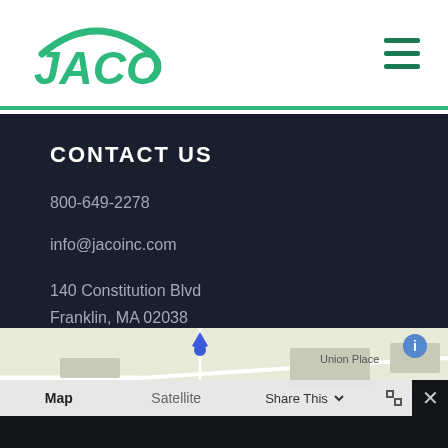[Figure (logo): JACO company logo in green italic text with arc above]
[Figure (other): Hamburger menu icon with three green horizontal lines]
CONTACT US
800-649-2278
info@jacoinc.com
140 Constitution Blvd
Franklin, MA 02038
[Figure (map): Google Maps screenshot showing location near Union Place with Map/Satellite/Share This controls and close button]